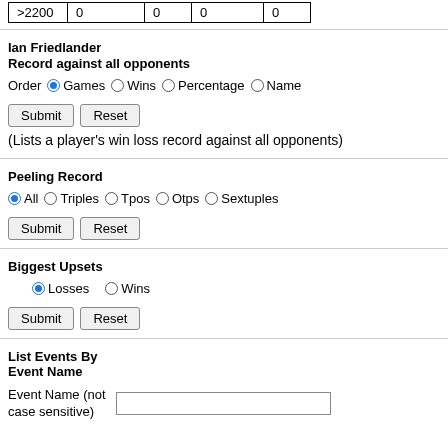| >2200 | 0 | 0 | 0 | 0 |
Ian Friedlander
Record against all opponents
Order  Games  Wins  Percentage  Name
Submit  Reset
(Lists a player's win loss record against all opponents)
Peeling Record
All  Triples  Tpos  Otps  Sextuples
Submit  Reset
Biggest Upsets
Losses  Wins
Submit  Reset
List Events By Event Name
Event Name (not case sensitive)